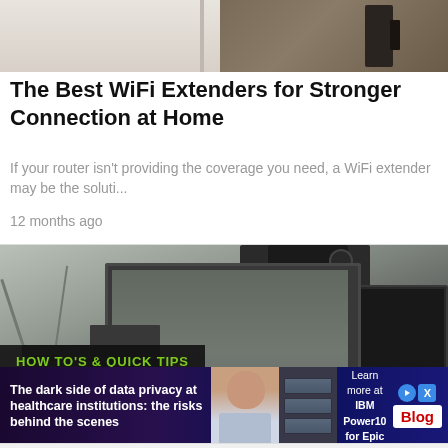[Figure (photo): Top portion of a hero image showing a room interior with furniture, partially cropped]
The Best WiFi Extenders for Stronger Connection at Home
If your router isn't providing the coverage you need, a WiFi extender may be the soluti...
12 months ago
[Figure (photo): Photo of various computer equipment including monitors, tower PC, antennas, and devices on a white background. Overlaid with a label reading 'HOW TO'S & QUICK TIPS']
[Figure (infographic): Advertisement banner: 'The dark side of data privacy at healthcare institutions: the risks behind the scenes' with IBM Power10 for Epic branding and a Blog badge]